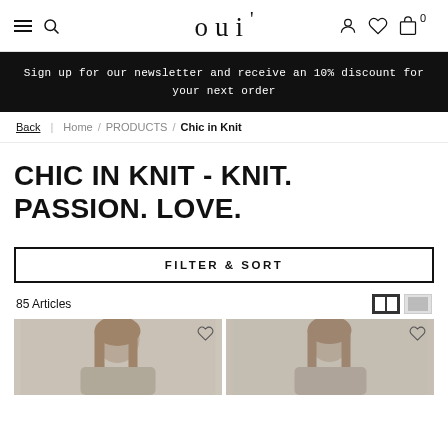oui
Sign up for our newsletter and receive an 10% discount for your next order
Back  Home / PRODUCTS / Chic in Knit
CHIC IN KNIT - KNIT. PASSION. LOVE.
FILTER & SORT
85 Articles
[Figure (photo): Two product photos of women wearing knitwear, with heart/wishlist icons in the top right of each card]